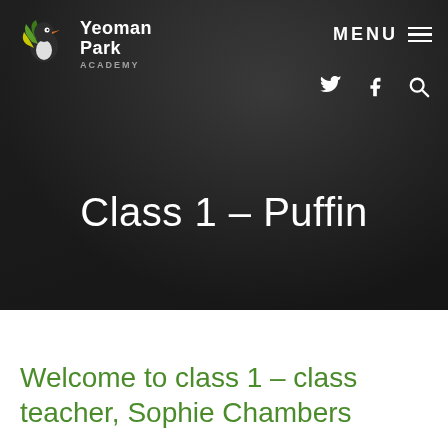[Figure (screenshot): Yeoman Park Academy website header with dark background showing a blurred puffin bird, logo with hummingbird/bird graphic, MENU button with hamburger icon, and social media icons (Twitter, Facebook, Search)]
Class 1 – Puffin
Welcome to class 1 – class teacher, Sophie Chambers